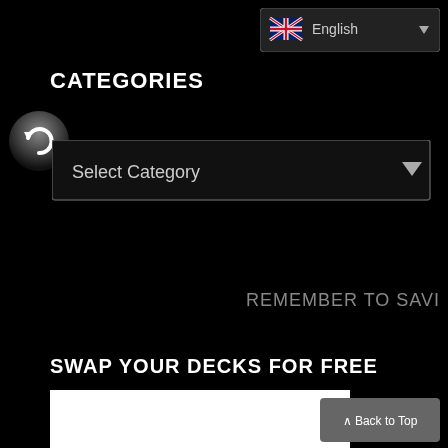[Figure (screenshot): Language selector dropdown button showing UK flag and 'English' text with dropdown arrow, dark themed UI]
CATEGORIES
[Figure (screenshot): Dark dropdown selector UI element with 'Select Category' placeholder text and a downward arrow]
REMEMBER TO SAVI
SWAP YOUR DECKS FOR FREE
[Figure (screenshot): White content area/panel below the SWAP YOUR DECKS FOR FREE heading]
[Figure (screenshot): Back to Top button in gray rounded style at bottom right]